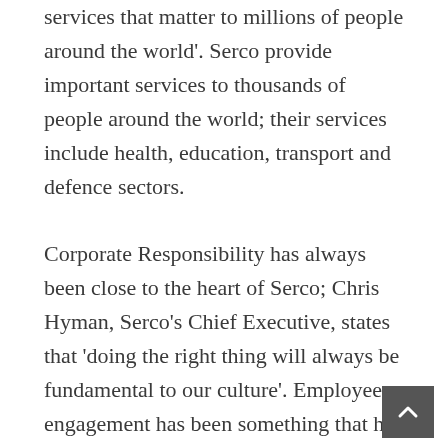services that matter to millions of people around the world'. Serco provide important services to thousands of people around the world; their services include health, education, transport and defence sectors.
Corporate Responsibility has always been close to the heart of Serco; Chris Hyman, Serco's Chief Executive, states that 'doing the right thing will always be fundamental to our culture'. Employee engagement has been something that has been at the forefront of Serco's business for some time ensuring that the 'right thing' for employees and